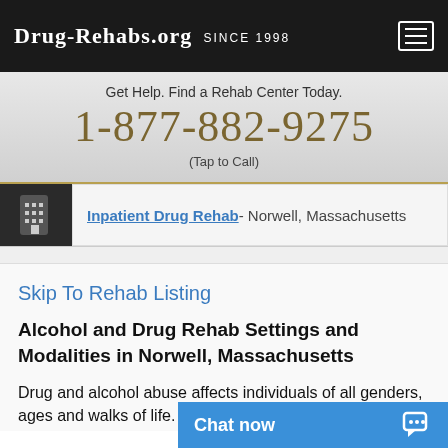Drug-Rehabs.org Since 1998
Get Help. Find a Rehab Center Today.
1-877-882-9275
(Tap to Call)
Inpatient Drug Rehab - Norwell, Massachusetts
Skip To Rehab Listing
Alcohol and Drug Rehab Settings and Modalities in Norwell, Massachusetts
Drug and alcohol abuse affects individuals of all genders, ages and walks of life. The addiction treatment centers ar...